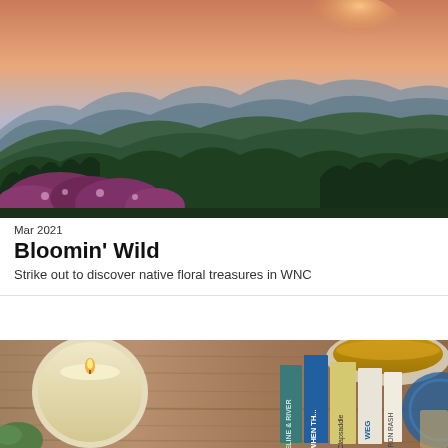[Figure (photo): Aerial landscape photo of Blue Ridge Mountains at sunset with purple rhododendrons in foreground and misty layered ridges in background]
Mar 2021
Bloomin' Wild
Strike out to discover native floral treasures in WNC
[Figure (photo): Flat lay photo on wooden surface showing a lit candle, a cup of tea, and several book spines including titles When Th..., Clapsaddle, WEG, and others]